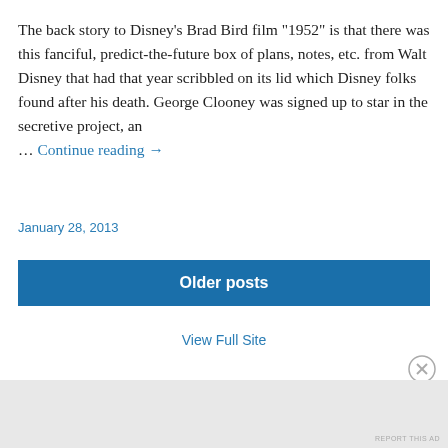The back story to Disney's Brad Bird film "1952" is that there was this fanciful, predict-the-future box of plans, notes, etc. from Walt Disney that had that year scribbled on its lid which Disney folks found after his death. George Clooney was signed up to star in the secretive project, an … Continue reading →
January 28, 2013
Older posts
View Full Site
Advertisements